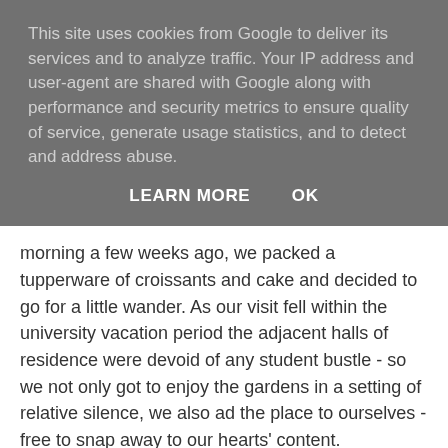This site uses cookies from Google to deliver its services and to analyze traffic. Your IP address and user-agent are shared with Google along with performance and security metrics to ensure quality of service, generate usage statistics, and to detect and address abuse.
LEARN MORE    OK
morning a few weeks ago, we packed a tupperware of croissants and cake and decided to go for a little wander. As our visit fell within the university vacation period the adjacent halls of residence were devoid of any student bustle - so we not only got to enjoy the gardens in a setting of relative silence, we also ad the place to ourselves - free to snap away to our hearts' content.
:: t h o m :: à 19:36    Aucun commentaire:
samedi 24 septembre 2011
Jocelyne - La la la la la